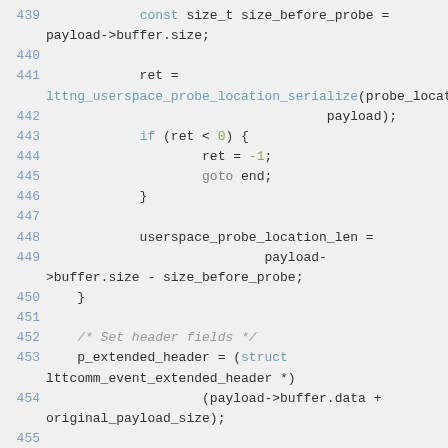[Figure (screenshot): Source code snippet showing C code lines 439-457, displaying lttng userspace probe serialization and header field assignment logic.]